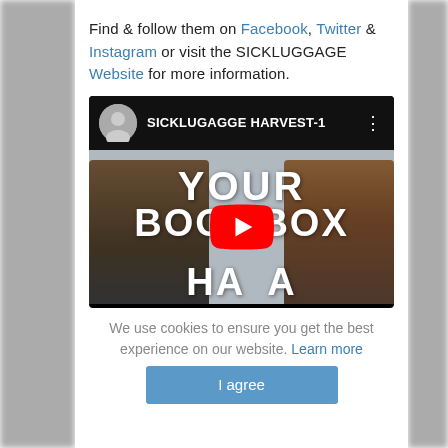Find & follow them on Facebook, Twitter & Instagram or visit the SICKLUGGAGE Website for more information.
[Figure (screenshot): YouTube video thumbnail showing SICKLUGGAGE HARVEST-1 video with text 'YOUR BOOMBOX HA A' and two boombox speakers. YouTube play button overlaid in center.]
We use cookies to ensure you get the best experience on our website. Learn more
I agree